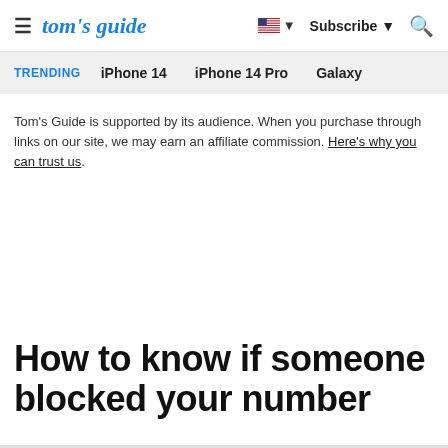tom's guide — Subscribe — Search
TRENDING   iPhone 14   iPhone 14 Pro   Galaxy
Tom's Guide is supported by its audience. When you purchase through links on our site, we may earn an affiliate commission. Here's why you can trust us.
How to know if someone blocked your number